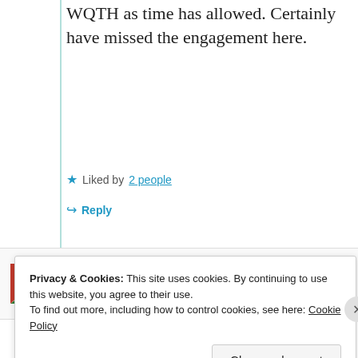WQTH as time has allowed. Certainly have missed the engagement here.
Liked by 2 people
Reply
[Figure (infographic): Advertisement banner showing a logo, 'podcast lovers.' text, and Pocket Casts logo]
REPORT THIS AD
Privacy & Cookies: This site uses cookies. By continuing to use this website, you agree to their use. To find out more, including how to control cookies, see here: Cookie Policy
Close and accept